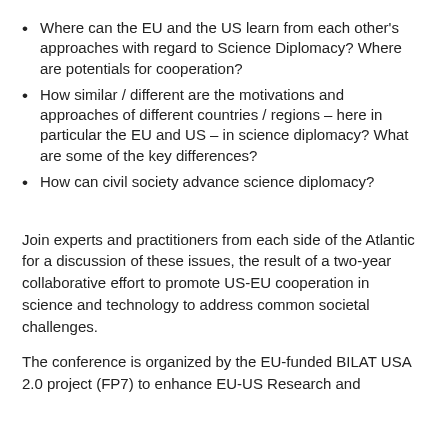Where can the EU and the US learn from each other's approaches with regard to Science Diplomacy? Where are potentials for cooperation?
How similar / different are the motivations and approaches of different countries / regions – here in particular the EU and US – in science diplomacy? What are some of the key differences?
How can civil society advance science diplomacy?
Join experts and practitioners from each side of the Atlantic for a discussion of these issues, the result of a two-year collaborative effort to promote US-EU cooperation in science and technology to address common societal challenges.
The conference is organized by the EU-funded BILAT USA 2.0 project (FP7) to enhance EU-US Research and